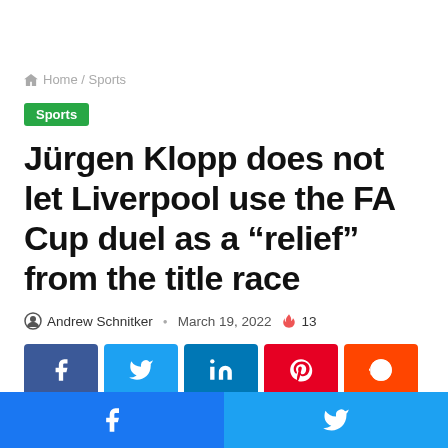Home / Sports
Sports
Jürgen Klopp does not let Liverpool use the FA Cup duel as a “relief” from the title race
Andrew Schnitker · March 19, 2022 🔥 13
[Figure (other): Social share buttons: Facebook, Twitter, LinkedIn, Pinterest, Reddit]
[Figure (other): Bottom bar with Facebook and Twitter share icons]